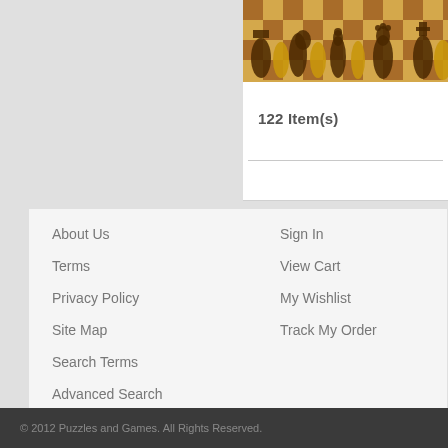[Figure (photo): Chess pieces arranged on a chessboard, top portion of product image visible]
122 Item(s)
About Us
Terms
Privacy Policy
Site Map
Search Terms
Advanced Search
Orders and Returns
Contact Us
Sign In
View Cart
My Wishlist
Track My Order
© 2012 Puzzles and Games. All Rights Reserved.